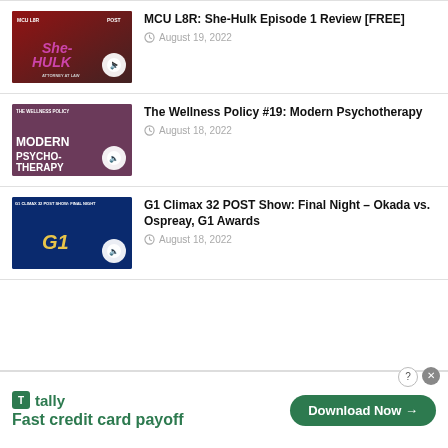[Figure (screenshot): Thumbnail for MCU L8R She-Hulk Episode 1 Review podcast]
MCU L8R: She-Hulk Episode 1 Review [FREE]
August 19, 2022
[Figure (screenshot): Thumbnail for The Wellness Policy #19 Modern Psychotherapy podcast]
The Wellness Policy #19: Modern Psychotherapy
August 18, 2022
[Figure (screenshot): Thumbnail for G1 Climax 32 POST Show Final Night podcast]
G1 Climax 32 POST Show: Final Night – Okada vs. Ospreay, G1 Awards
August 18, 2022
[Figure (screenshot): Tally advertisement banner - Fast credit card payoff - Download Now button]